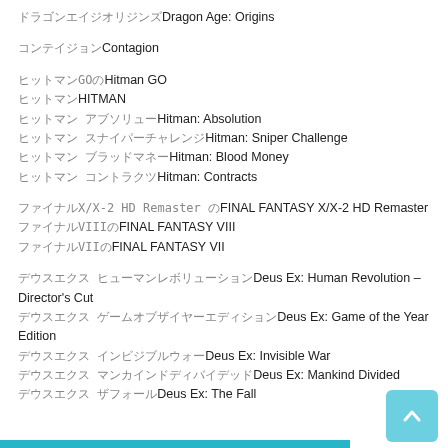ファイナルファンタジーDragon Age: Origins
コンテイジョンContagion
ヒットマンGOヒHitman GO
ヒットマンHITMAN
ヒットマン アブソリューションHitman: Absolution
ヒットマン スナイパー チャレンジHitman: Sniper Challenge
ヒットマン ブラッドマネーHitman: Blood Money
ヒットマン コントラクツHitman: Contracts
FFX/X-2 HD RemasterのFINAL FANTASY X/X-2 HD Remaster
ファイナルVIIIのFINAL FANTASY VIII
ファイナルVIIのFINAL FANTASY VII
デウスエクス ヒューマンレボリューションDeus Ex: Human Revolution – Director's Cut
デウスエクス ゲームオブザイヤーDeus Ex: Game of the Year Edition
デウスエクス インビジブルウォーDeus Ex: Invisible War
デウスエクス マンカインドDivided Deus Ex: Mankind Divided
デウスエクス ザフォールDeus Ex: The Fall